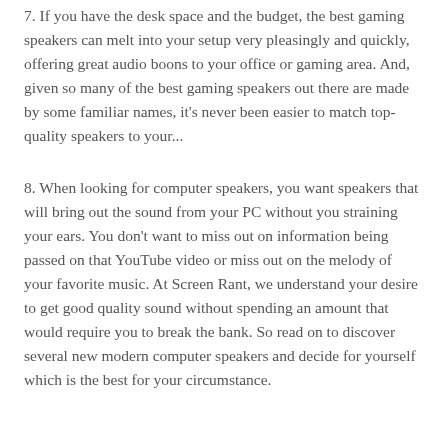7. If you have the desk space and the budget, the best gaming speakers can melt into your setup very pleasingly and quickly, offering great audio boons to your office or gaming area. And, given so many of the best gaming speakers out there are made by some familiar names, it's never been easier to match top-quality speakers to your...
8. When looking for computer speakers, you want speakers that will bring out the sound from your PC without you straining your ears. You don't want to miss out on information being passed on that YouTube video or miss out on the melody of your favorite music. At Screen Rant, we understand your desire to get good quality sound without spending an amount that would require you to break the bank. So read on to discover several new modern computer speakers and decide for yourself which is the best for your circumstance.